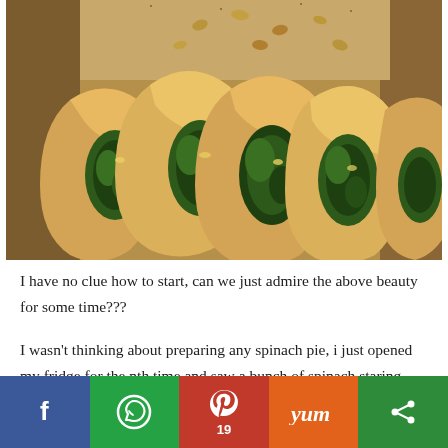[Figure (photo): Close-up photo of spinach pie pastries — golden pastry shells filled with spinach and cheese filling, topped with pine nuts, arranged on a surface.]
I have no clue how to start, can we just admire the above beauty for some time???
I wasn't thinking about preparing any spinach pie, i just opened my fridge for the nth time and saw a bunch of spinach staring straight at me. Bang on!! Within a few
[Figure (infographic): Social sharing bar with Facebook (blue), WhatsApp (green), Pinterest (red, showing 19 shares), Yummly (orange), and a share/other button (dark green).]